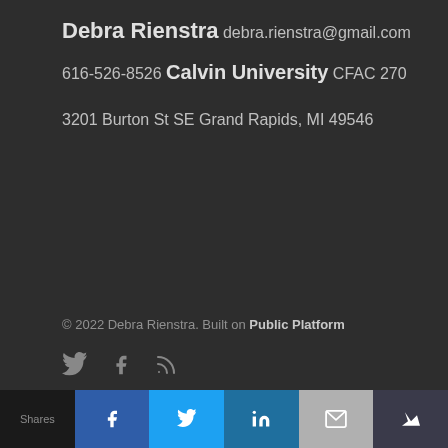Debra Rienstra
debra.rienstra@gmail.com
616-526-8526
Calvin University
CFAC 270
3201 Burton St SE
Grand Rapids, MI 49546
© 2022 Debra Rienstra. Built on Public Platform
[Figure (other): Social media icons: Twitter bird, Facebook f, RSS feed icon]
Shares | Facebook | Twitter | LinkedIn | Email | Crown icon